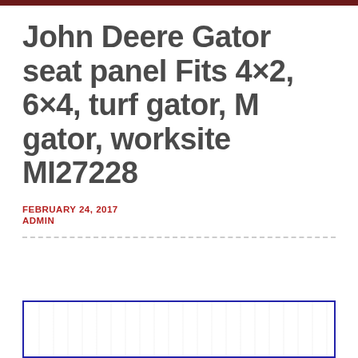John Deere Gator seat panel Fits 4×2, 6×4, turf gator, M gator, worksite MI27228
FEBRUARY 24, 2017
ADMIN
[Figure (photo): Product image of John Deere Gator seat panel, partially visible at bottom of page with blue border frame]